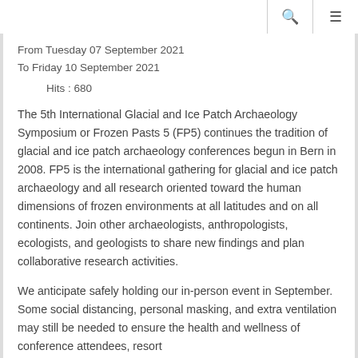🔍  ≡
From Tuesday 07 September 2021
To Friday 10 September 2021
Hits : 680
The 5th International Glacial and Ice Patch Archaeology Symposium or Frozen Pasts 5 (FP5) continues the tradition of glacial and ice patch archaeology conferences begun in Bern in 2008. FP5 is the international gathering for glacial and ice patch archaeology and all research oriented toward the human dimensions of frozen environments at all latitudes and on all continents. Join other archaeologists, anthropologists, ecologists, and geologists to share new findings and plan collaborative research activities.
We anticipate safely holding our in-person event in September. Some social distancing, personal masking, and extra ventilation may still be needed to ensure the health and wellness of conference attendees, resort